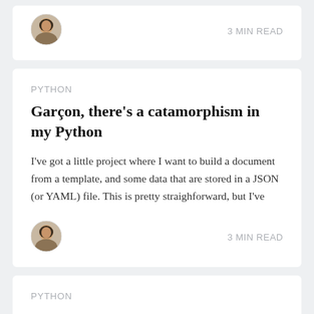[Figure (photo): Author avatar photo (partial card top)]
3 MIN READ
PYTHON
Garçon, there's a catamorphism in my Python
I've got a little project where I want to build a document from a template, and some data that are stored in a JSON (or YAML) file. This is pretty straighforward, but I've
[Figure (photo): Author avatar photo]
3 MIN READ
PYTHON